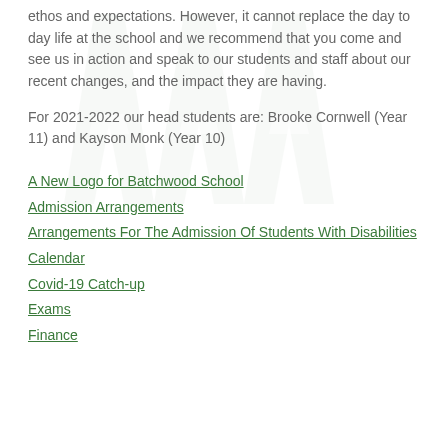ethos and expectations.  However, it cannot replace the day to day life at the school and we recommend that you come and see us in action and speak to our students and staff about our recent changes, and the impact they are having.
For 2021-2022 our head students are:  Brooke Cornwell (Year 11) and Kayson Monk (Year 10)
A New Logo for Batchwood School
Admission Arrangements
Arrangements For The Admission Of Students With Disabilities
Calendar
Covid-19 Catch-up
Exams
Finance